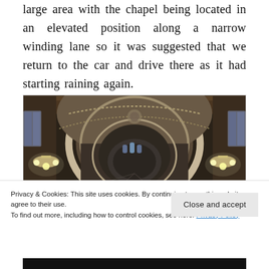large area with the chapel being located in an elevated position along a narrow winding lane so it was suggested that we return to the car and drive there as it had starting raining again.
[Figure (photo): Interior photograph of a cathedral or chapel showing ornate arched ceiling with intricate mosaics, chandeliers on either side, and a view down the nave toward an apse with stained glass windows.]
Privacy & Cookies: This site uses cookies. By continuing to use this website, you agree to their use.
To find out more, including how to control cookies, see here: Privacy Policy
Close and accept